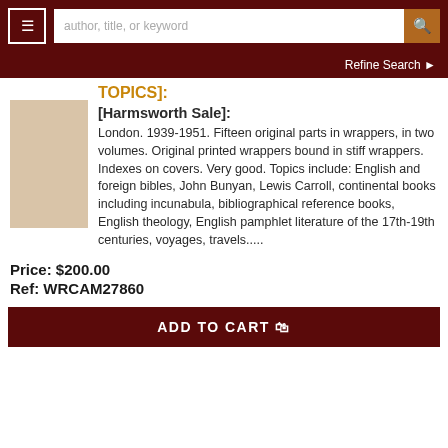author, title, or keyword [search bar] | Refine Search
TOPICS]:
[Harmsworth Sale]:
London. 1939-1951. Fifteen original parts in wrappers, in two volumes. Original printed wrappers bound in stiff wrappers. Indexes on covers. Very good. Topics include: English and foreign bibles, John Bunyan, Lewis Carroll, continental books including incunabula, bibliographical reference books, English theology, English pamphlet literature of the 17th-19th centuries, voyages, travels.....
Price: $200.00
Ref: WRCAM27860
ADD TO CART